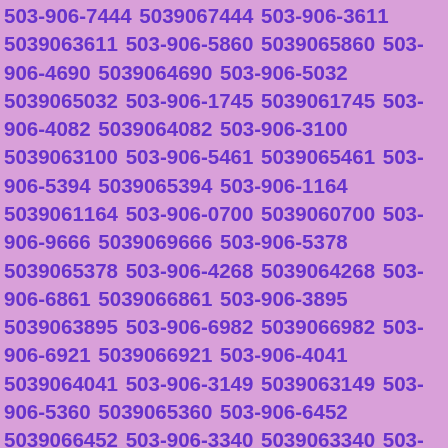503-906-7444 5039067444 503-906-3611 5039063611 503-906-5860 5039065860 503-906-4690 5039064690 503-906-5032 5039065032 503-906-1745 5039061745 503-906-4082 5039064082 503-906-3100 5039063100 503-906-5461 5039065461 503-906-5394 5039065394 503-906-1164 5039061164 503-906-0700 5039060700 503-906-9666 5039069666 503-906-5378 5039065378 503-906-4268 5039064268 503-906-6861 5039066861 503-906-3895 5039063895 503-906-6982 5039066982 503-906-6921 5039066921 503-906-4041 5039064041 503-906-3149 5039063149 503-906-5360 5039065360 503-906-6452 5039066452 503-906-3340 5039063340 503-906-6222 5039066222 503-906-0594 5039060594 503-906-3662 5039063662 503-906-9121 5039069121 503-906-1131 5039061131 503-906-4289 5039064289 503-906-4852 5039064852 503-906-8618 5039068618 503-906-7385 5039067385 503-906-6562 5039066562 503-906-2406 5039062406 503-906-6936 5039066936 503-906-5681 5039065681 503-906-9748 5039069748 503-906-6743 5039066743 503-906-9604 5039069604 503-906-4083 5039064083 503-906-8379